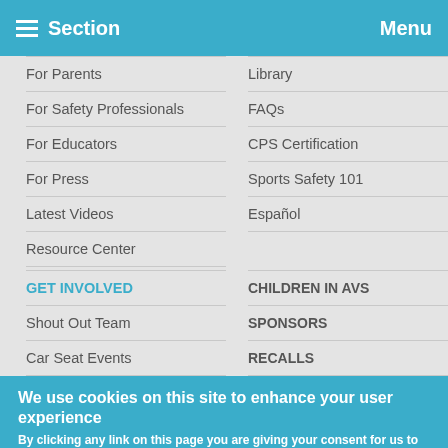Section   Menu
For Parents
Library
For Safety Professionals
FAQs
For Educators
CPS Certification
For Press
Sports Safety 101
Latest Videos
Español
Resource Center
GET INVOLVED
CHILDREN IN AVS
Shout Out Team
SPONSORS
Car Seat Events
RECALLS
We use cookies on this site to enhance your user experience
By clicking any link on this page you are giving your consent for us to set cookies. No, give me more info